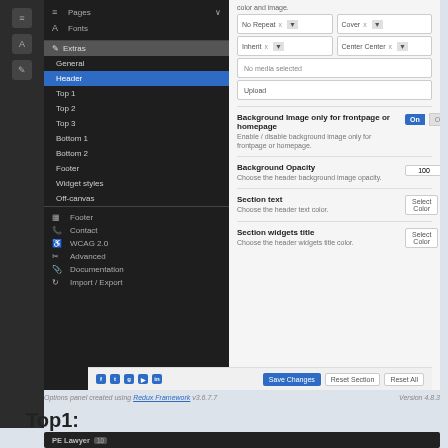[Figure (screenshot): WordPress theme options panel showing Header settings with sidebar navigation (Pages, Fonts, Extras, General, Header selected, Top 1, Top 2, Top 3, Bottom 1, Bottom 2, Footer, Widget styles, Off-canvas, Footer, Contact, WCAG 2.0, Advanced, Documentation, Import/Export) and right panel with background image settings, toggle On/Off for frontpage, Background Opacity slider at 100, Section text color selector, Section widgets title color selector, and footer bar with social icons and Save Changes/Reset Section/Reset All buttons]
Options panel created using Redux Framework v3.6.7.7    Version 4.8.3
Top1:
[Figure (screenshot): Dark themed PE Lawyer widget box at the bottom of the page]